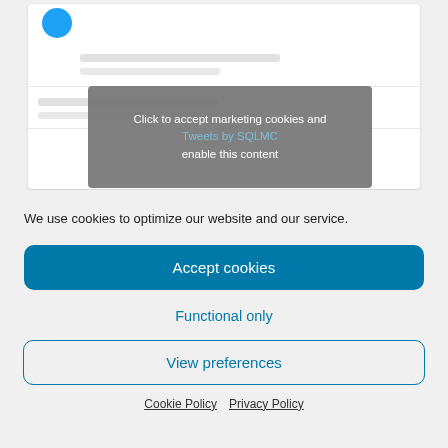[Figure (screenshot): Partial screenshot of a webpage showing a Twitter/X embed widget with a blue circle icon at top left, grey horizontal lines simulating tweet content rows, and a cookie consent overlay reading 'Click to accept marketing cookies and enable this content' overlaid on 'Tweets by SQLMC' text.]
We use cookies to optimize our website and our service.
Accept cookies
Functional only
View preferences
Cookie Policy   Privacy Policy